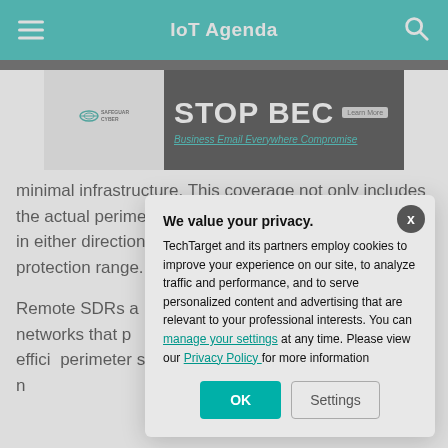IoT Agenda
[Figure (screenshot): SafeguardCyber advertisement banner: STOP BEC – Business Email Everywhere Compromise, Learn More]
minimal infrastructure. This coverage not only includes the actual perimeter line, but also spans up to 30 miles in either direction of the cell tower — creating a wider protection range.
Remote SDRs a... more powerful i... place, they can b... networks that p... feedback. This is... enhancing effici... perimeter securi... temperature or d... streaming and n...
We value your privacy. TechTarget and its partners employ cookies to improve your experience on our site, to analyze traffic and performance, and to serve personalized content and advertising that are relevant to your professional interests. You can manage your settings at any time. Please view our Privacy Policy for more information